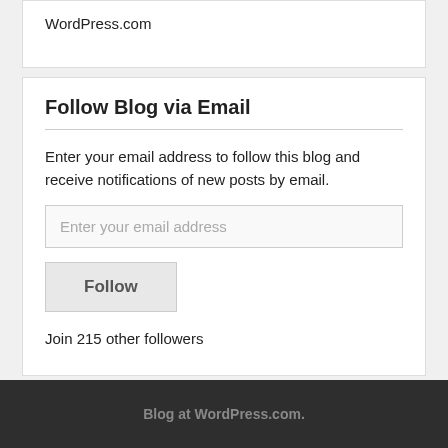WordPress.com
Follow Blog via Email
Enter your email address to follow this blog and receive notifications of new posts by email.
Enter your email address
Follow
Join 215 other followers
Blog at WordPress.com.